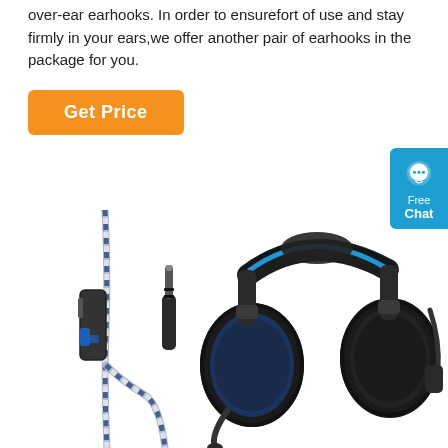over-ear earhooks. In order to ensurefort of use and stay firmly in your ears,we offer another pair of earhooks in the package for you.
[Figure (other): Orange 'Get Price' button]
[Figure (other): Blue chat widget with speech bubble icon, text 'Free Chat']
[Figure (photo): Black and blue gaming headset with inline remote control and 3.5mm audio cable shown alongside the headset]